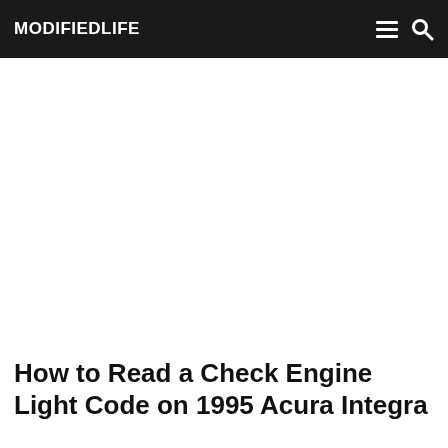MODIFIEDLIFE
How to Read a Check Engine Light Code on 1995 Acura Integra